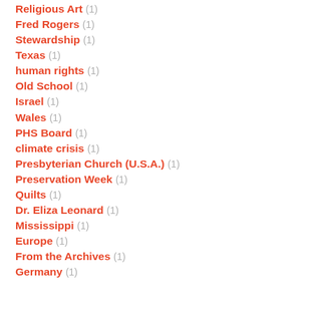Religious Art (1)
Fred Rogers (1)
Stewardship (1)
Texas (1)
human rights (1)
Old School (1)
Israel (1)
Wales (1)
PHS Board (1)
climate crisis (1)
Presbyterian Church (U.S.A.) (1)
Preservation Week (1)
Quilts (1)
Dr. Eliza Leonard (1)
Mississippi (1)
Europe (1)
From the Archives (1)
Germany (1)